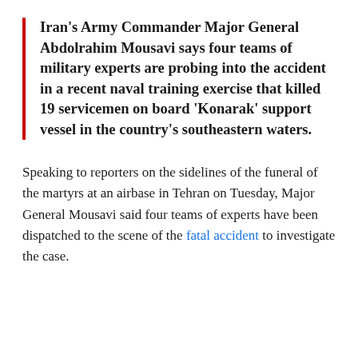Iran's Army Commander Major General Abdolrahim Mousavi says four teams of military experts are probing into the accident in a recent naval training exercise that killed 19 servicemen on board 'Konarak' support vessel in the country's southeastern waters.
Speaking to reporters on the sidelines of the funeral of the martyrs at an airbase in Tehran on Tuesday, Major General Mousavi said four teams of experts have been dispatched to the scene of the fatal accident to investigate the case.